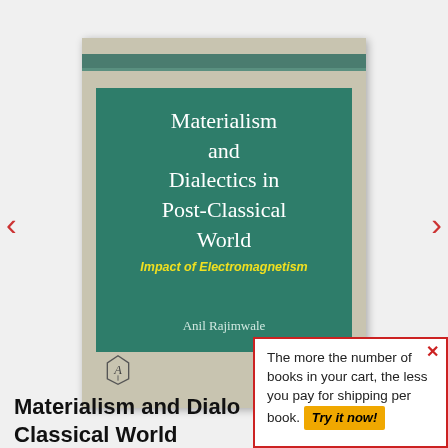[Figure (illustration): Book cover for 'Materialism and Dialectics in Post-Classical World: Impact of Electromagnetism' by Anil Rajimwale. Teal/green cover with white title text, yellow italic subtitle, and author name. Beige/tan book spine and border. Publisher logo at bottom left.]
Materialism and Dialectics in Post-Classical World
The more the number of books in your cart, the less you pay for shipping per book. Try it now!